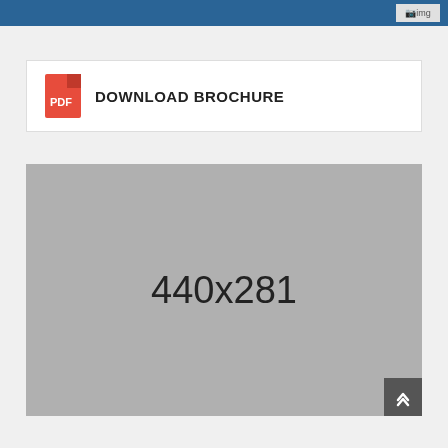[Figure (screenshot): Broken image placeholder in top-right of header bar showing 'img' text]
DOWNLOAD BROCHURE
[Figure (photo): Grey placeholder image showing dimensions 440x281]